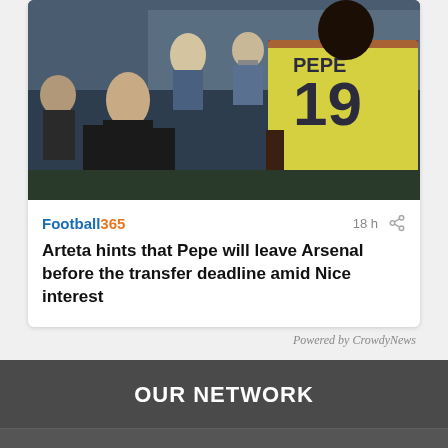[Figure (photo): Football scene showing a manager in dark jacket and a player wearing yellow Arsenal away jersey with number 19 and name PEPE on the back, with other people in background including someone with a face mask]
Football365   18 h  [share icon]
Arteta hints that Pepe will leave Arsenal before the transfer deadline amid Nice interest
Powered by CrowdyNews
OUR NETWORK
Planet Football
Football365
TEAMtalk